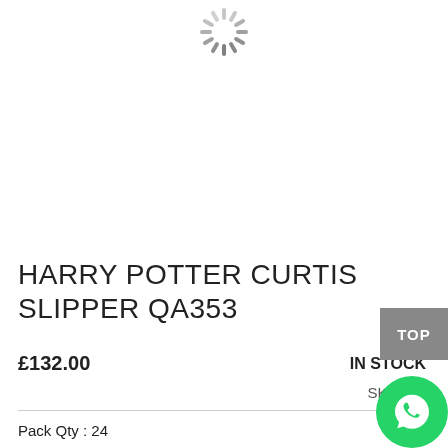[Figure (illustration): Loading spinner / activity indicator in gray at the top center of the page]
HARRY POTTER CURTIS SLIPPER QA353
£132.00
IN STOCK
SKU#:  C
Pack Qty : 24
[Figure (illustration): TOP scroll-to-top button overlay in gray]
[Figure (logo): WhatsApp phone icon in green circle, bottom right corner]